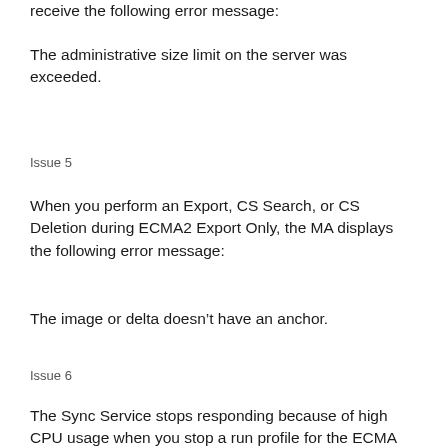receive the following error message:
The administrative size limit on the server was exceeded.
Issue 5
When you perform an Export, CS Search, or CS Deletion during ECMA2 Export Only, the MA displays the following error message:
The image or delta doesn’t have an anchor.
Issue 6
The Sync Service stops responding because of high CPU usage when you stop a run profile for the ECMA connector.